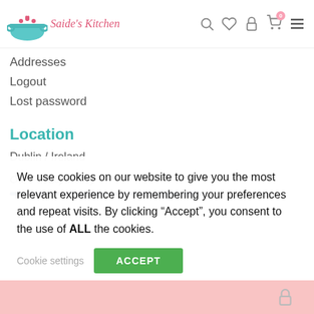Saide's Kitchen
Addresses
Logout
Lost password
Location
Dublin / Ireland
Our Privacy Policy
We use cookies on our website to give you the most relevant experience by remembering your preferences and repeat visits. By clicking “Accept”, you consent to the use of ALL the cookies.